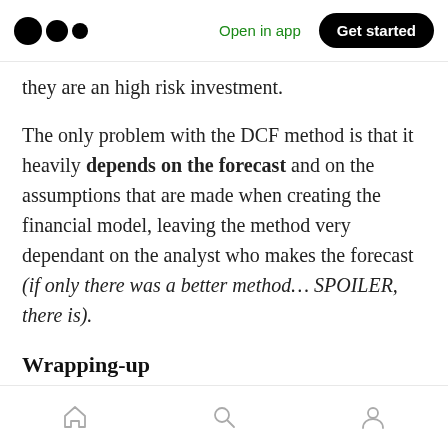Open in app  Get started
they are an high risk investment.
The only problem with the DCF method is that it heavily depends on the forecast and on the assumptions that are made when creating the financial model, leaving the method very dependant on the analyst who makes the forecast (if only there was a better method… SPOILER, there is).
Wrapping-up
As you may have guessed it is extremely hard to value a company, especially a startup since they
home  search  profile